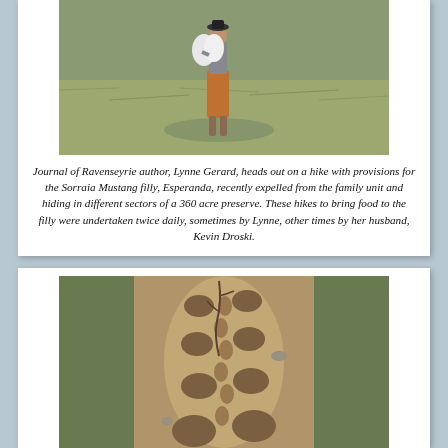[Figure (photo): A person wearing a skirt and hat carries bags while standing in a dry grassy field.]
Journal of Ravenseyrie author, Lynne Gerard, heads out on a hike with provisions for the Sorraia Mustang filly, Esperanda, recently expelled from the family unit and hiding in different sectors of a 360 acre preserve. These hikes to bring food to the filly were undertaken twice daily, sometimes by Lynne, other times by her husband, Kevin Droski.
[Figure (photo): A muddy trail showing large hoof prints and smaller footprints in the dirt, with grass on the sides.]